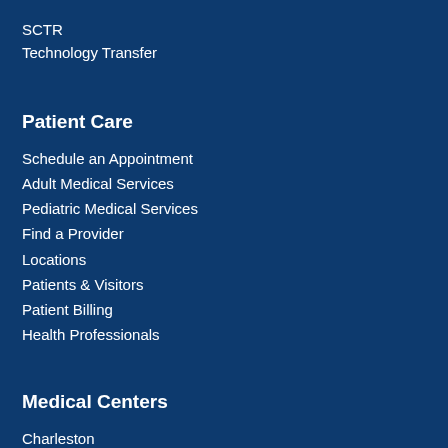SCTR
Technology Transfer
Patient Care
Schedule an Appointment
Adult Medical Services
Pediatric Medical Services
Find a Provider
Locations
Patients & Visitors
Patient Billing
Health Professionals
Medical Centers
Charleston
Chester
Columbia Downtown